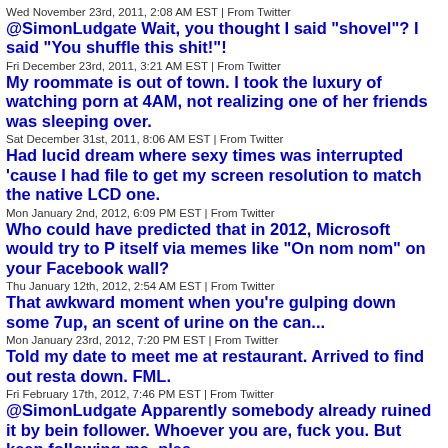Wed November 23rd, 2011, 2:08 AM EST | From Twitter
@SimonLudgate Wait, you thought I said "shovel"? I said "You shuffle this shit!"!
Fri December 23rd, 2011, 3:21 AM EST | From Twitter
My roommate is out of town. I took the luxury of watching porn at 4AM, not realizing one of her friends was sleeping over.
Sat December 31st, 2011, 8:06 AM EST | From Twitter
Had lucid dream where sexy times was interrupted 'cause I had file to get my screen resolution to match the native LCD one.
Mon January 2nd, 2012, 6:09 PM EST | From Twitter
Who could have predicted that in 2012, Microsoft would try to P itself via memes like "On nom nom" on your Facebook wall?
Thu January 12th, 2012, 2:54 AM EST | From Twitter
That awkward moment when you're gulping down some 7up, an scent of urine on the can...
Mon January 23rd, 2012, 7:20 PM EST | From Twitter
Told my date to meet me at restaurant. Arrived to find out resta down. FML.
Fri February 17th, 2012, 7:46 PM EST | From Twitter
@SimonLudgate Apparently somebody already ruined it by bein follower. Whoever you are, fuck you. But keep following me, plea
Sun February 19th, 2012, 11:48 AM EST | From Twitter
@GeekNpurple Well, it was open last time I went, which was lik months ago? And it was open for years before that.
Sun February 19th, 2012, 11:49 AM EST | From Twitter
@uninhibition pics or GTFO.
Sun March 4th, 2012, 7:22 PM EST | From Twitter